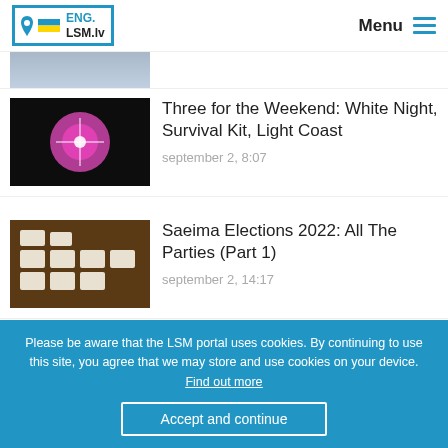ENG.LSM.lv — Menu
[Figure (photo): Partially visible photo at top, cut off]
Three for the Weekend: White Night, Survival Kit, Light Coast
september 2, 8:07
Saeima Elections 2022: All The Parties (Part 1)
september 2, 14:17
Latvia's total Covid case count passes 900,000 mark
Please be aware that the LSM portal uses cookies. By continuing to use this site, you agree that we may store and use cookies on your device. Find out more
Accept and continue